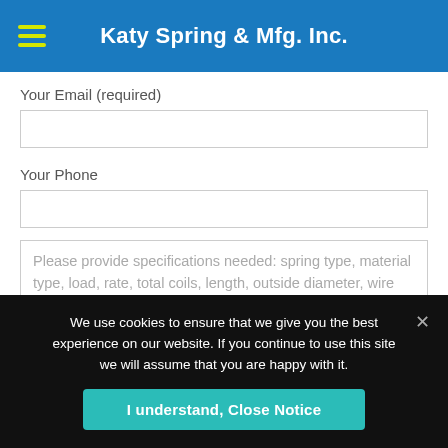Katy Spring & Mfg. Inc.
Your Email (required)
Your Phone
Please provide specifications needed: spring type, material type, load, rate, total coils, length, outside diameter, wire size, travel, etc.
We use cookies to ensure that we give you the best experience on our website. If you continue to use this site we will assume that you are happy with it.